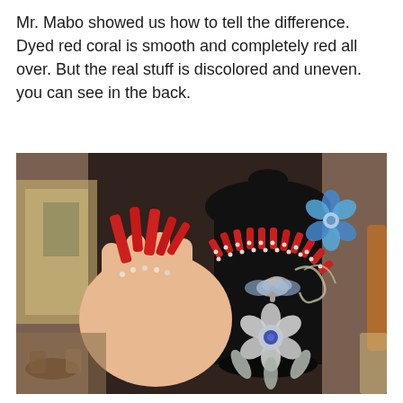Mr. Mabo showed us how to tell the difference. Dyed red coral is smooth and completely red all over. But the real stuff is discolored and uneven. you can see in the back.
[Figure (photo): A hand holding a red coral necklace with irregular branch-like pieces, next to a black velvet jewelry display bust wearing a red coral necklace with small white beads and a silver flower brooch with blue rhinestones. Vintage jewelry store setting in background.]